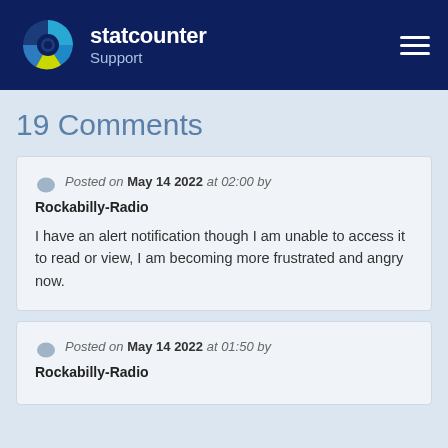statcounter Support
19 Comments
Posted on May 14 2022 at 02:00 by Rockabilly-Radio

I have an alert notification though I am unable to access it to read or view, I am becoming more frustrated and angry now.
Posted on May 14 2022 at 01:50 by Rockabilly-Radio